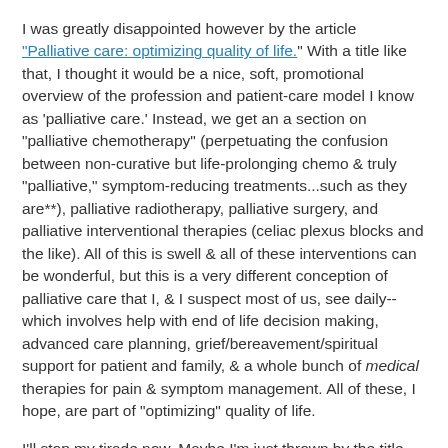I was greatly disappointed however by the article "Palliative care: optimizing quality of life." With a title like that, I thought it would be a nice, soft, promotional overview of the profession and patient-care model I know as 'palliative care.' Instead, we get an a section on "palliative chemotherapy" (perpetuating the confusion between non-curative but life-prolonging chemo & truly "palliative," symptom-reducing treatments...such as they are**), palliative radiotherapy, palliative surgery, and palliative interventional therapies (celiac plexus blocks and the like). All of this is swell & all of these interventions can be wonderful, but this is a very different conception of palliative care that I, & I suspect most of us, see daily--which involves help with end of life decision making, advanced care planning, grief/bereavement/spiritual support for patient and family, & a whole bunch of medical therapies for pain & symptom management. All of these, I hope, are part of "optimizing" quality of life.
I'll stop my tirade now. Maybe I'm just thrown by the title, which should instead be something like "Palliative care with the knife, needle, poison, & ray-gun."